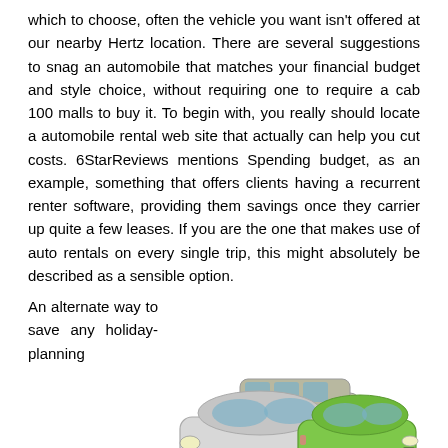which to choose, often the vehicle you want isn't offered at our nearby Hertz location. There are several suggestions to snag an automobile that matches your financial budget and style choice, without requiring one to require a cab 100 malls to buy it. To begin with, you really should locate a automobile rental web site that actually can help you cut costs. 6StarReviews mentions Spending budget, as an example, something that offers clients having a recurrent renter software, providing them savings once they carrier up quite a few leases. If you are the one that makes use of auto rentals on every single trip, this might absolutely be described as a sensible option.
[Figure (photo): Three cars grouped together: a silver sedan (Hyundai Accent style), a minivan/MPV in silver/beige, and a green compact hatchback (Chevrolet Spark style).]
An alternate way to save any holiday-planning hassles would be to pick wide lookup conditions when signing up for a car lease. You will sometimes be asked to select the schedules you want the automobile, which kind of car you desire,